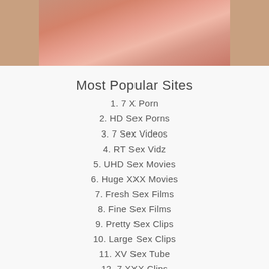[Figure (photo): Cropped close-up photo at top of page]
Most Popular Sites
1. 7 X Porn
2. HD Sex Porns
3. 7 Sex Videos
4. RT Sex Vidz
5. UHD Sex Movies
6. Huge XXX Movies
7. Fresh Sex Films
8. Fine Sex Films
9. Pretty Sex Clips
10. Large Sex Clips
11. XV Sex Tube
12. 7 XXX Clips